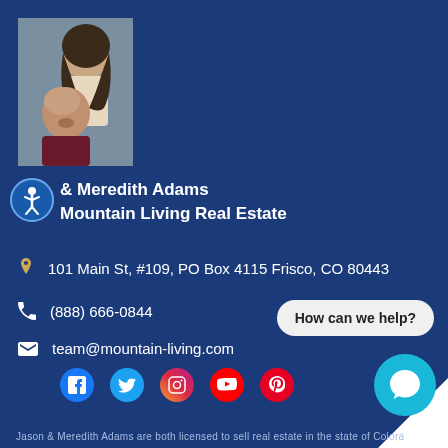[Figure (photo): Professional photo of Jason and Meredith Adams, a couple, against a gray background.]
& Meredith Adams
Mountain Living Real Estate
101 Main St, #109, PO Box 4115 Frisco, CO 80443
(888) 666-0844
team@mountain-living.com
[Figure (infographic): Social media icons: Facebook, Twitter, Instagram, YouTube, Pinterest]
How can we help?
Jason & Meredith Adams are both licensed to sell real estate in the state of Colora